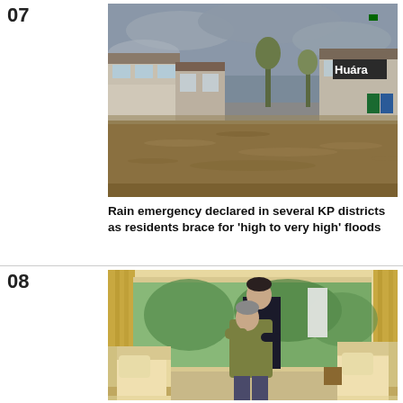07
[Figure (photo): Flooded street scene with brown murky water covering a road between commercial buildings under an overcast sky. A sign reading 'Huara' is visible on a building on the right.]
Rain emergency declared in several KP districts as residents brace for ‘high to very high’ floods
08
[Figure (photo): Two men embracing in a warmly decorated interior room with armchairs, curtains, and large windows showing greenery outside.]